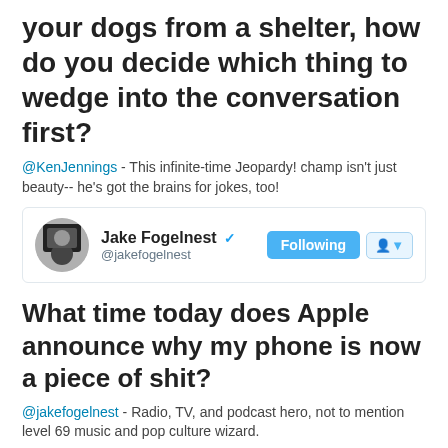your dogs from a shelter, how do you decide which thing to wedge into the conversation first?
@KenJennings - This infinite-time Jeopardy! champ isn't just beauty-- he's got the brains for jokes, too!
[Figure (screenshot): Twitter profile card for Jake Fogelnest (@jakefogelnest) with Following button]
What time today does Apple announce why my phone is now a piece of shit?
@jakefogelnest - Radio, TV, and podcast hero, not to mention level 69 music and pop culture wizard.
[Figure (screenshot): Twitter profile card for BEST PORN COMMENTS (@BESTPORNCOMMENT) with Following button]